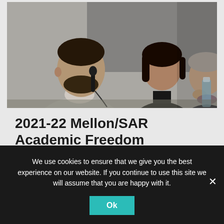[Figure (photo): Three people seated at a panel table. A man in a light grey suit speaks into a microphone in the foreground; a woman in a black top sits behind him; another woman in dark clothing sits further right with her hand raised to her chin. A water bottle is visible on the right.]
2021-22 Mellon/SAR Academic Freedom Workshop & Fellowships
2021-22 MELLON/SAR ACADEMIC FREEDOM WORKSHOP & FELLOWSHIPS
We use cookies to ensure that we give you the best experience on our website. If you continue to use this site we will assume that you are happy with it.